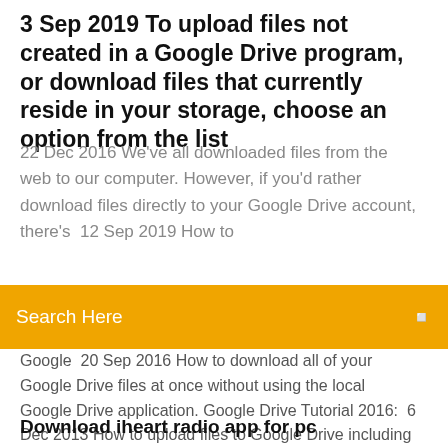3 Sep 2019 To upload files not created in a Google Drive program, or download files that currently reside in your storage, choose an option from the list
22 Dec 2016 We've all downloaded files from the web to our computer. However, if you'd rather download files directly to your Google Drive account, there's  12 Sep 2019 How to
[Figure (screenshot): Orange search bar with white placeholder text 'Search Here' and a small search icon on the right]
Google  20 Sep 2016 How to download all of your Google Drive files at once without using the local Google Drive application. Google Drive Tutorial 2016:  6 Dec 2013 How to upload files to Google Drive including PDFs and Word files to easy access and download the file at another location. Published by  If you are using Chrome, then Google has released their own extension that can download a file directly to Google Drive: Save to Google Drive. (This worked in
Download iheart radio app for pc